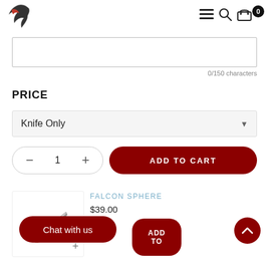Navigation header with logo and icons (menu, search, cart with 0)
0/150 characters
PRICE
Knife Only (dropdown)
1  ADD TO CART
FALCON SPHERE
$39.00
Chat with us
ADD TO
[Figure (screenshot): Knife product thumbnail image - small folding knife with brown handle]